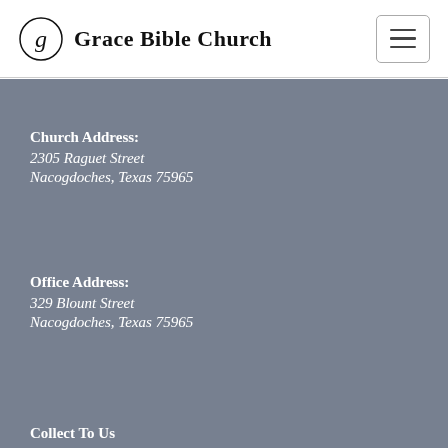Grace Bible Church
Church Address:
2305 Raguet Street
Nacogdoches, Texas 75965
Office Address:
329 Blount Street
Nacogdoches, Texas 75965
Collect To Us